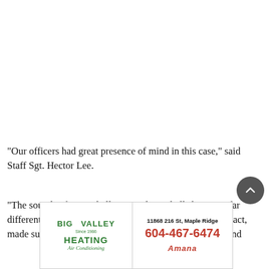“Our officers had great presence of mind in this case,” said Staff Sgt. Hector Lee.
“The sounds of a paintball gun, and paintballs hitting is far different than real guns or bullets. They recognized that fact, made sure of their safety and then made their approach and
[Figure (other): Advertisement for Big Valley Heating and Air Conditioning. Left side: Big Valley Heating Air Conditioning logo in green text with 'Since 1986'. Right side: address '11868 216 St, Maple Ridge', phone '604-467-6474' in red, Amana logo in red italic.]